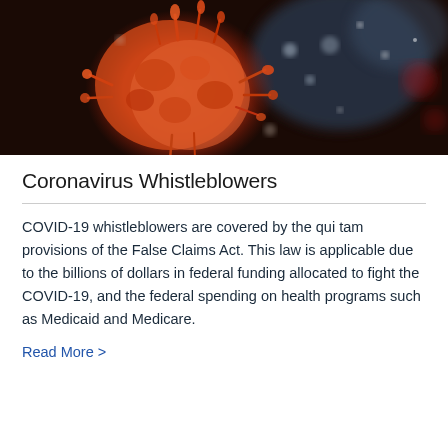[Figure (photo): Close-up microscopic image of coronavirus/COVID-19 particle, orange-red colored with spike proteins visible against a blurred bokeh background]
Coronavirus Whistleblowers
COVID-19 whistleblowers are covered by the qui tam provisions of the False Claims Act. This law is applicable due to the billions of dollars in federal funding allocated to fight the COVID-19, and the federal spending on health programs such as Medicaid and Medicare.
Read More >